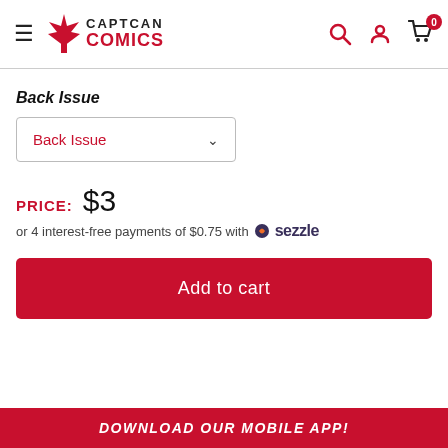CaptCan Comics — navigation header with logo, search, account, and cart icons
Back Issue
Back Issue (dropdown)
PRICE: $3
or 4 interest-free payments of $0.75 with Sezzle
Add to cart
DOWNLOAD OUR MOBILE APP!